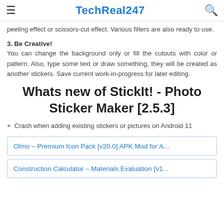TechReal247
peeling effect or scissors-cut effect. Various filters are also ready to use.
3. Be Creative!
You can change the background only or fill the cutouts with color or pattern. Also, type some text or draw something, they will be created as another stickers. Save current work-in-progress for later editing.
Whats new of StickIt! - Photo Sticker Maker [2.5.3]
+ Crash when adding existing stickers or pictures on Android 11
Olmo – Premium Icon Pack [v20.0] APK Mod for A...
Construction Calculator – Materials Evaluation [v1...